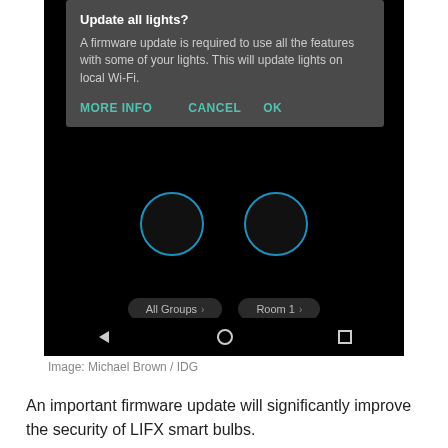[Figure (screenshot): Mobile app screenshot showing a firmware update dialog ('Update all lights?') overlaying a dark smart lighting app interface with 'All Groups' and 'Room 1' tabs, an 'Integrations' section with Home, IFTTT, and Google Assistant circles, and Android navigation bar at bottom.]
Image: Michael Brown / IDG
An important firmware update will significantly improve the security of LIFX smart bulbs.